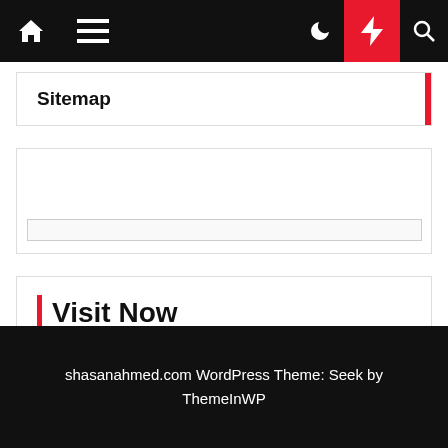Navigation bar with home, hamburger menu, moon, bolt, and search icons
Sitemap
[Figure (other): Empty content box with inner search/input bar]
Visit Now
Home Design
shasanahmed.com WordPress Theme: Seek by ThemeInWP